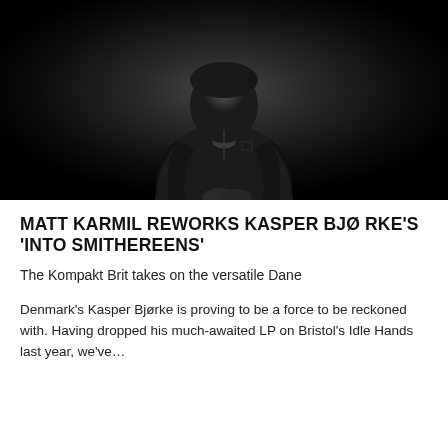[Figure (photo): Black and white photo of a man in a dark jacket seated against a dark/black background]
MATT KARMIL REWORKS KASPER BJØRKE'S 'INTO SMITHEREENS'
The Kompakt Brit takes on the versatile Dane
Denmark's Kasper Bjørke is proving to be a force to be reckoned with. Having dropped his much-awaited LP on Bristol's Idle Hands last year, we've…